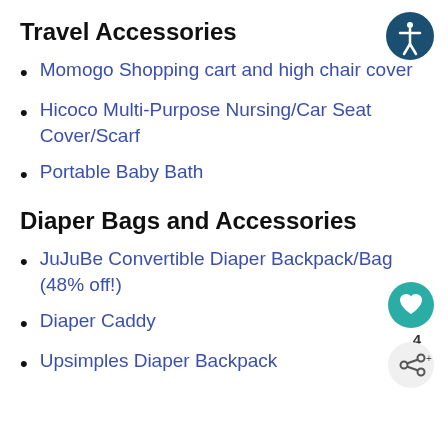Travel Accessories
Momogo Shopping cart and high chair cover
Hicoco Multi-Purpose Nursing/Car Seat Cover/Scarf
Portable Baby Bath
Diaper Bags and Accessories
JuJuBe Convertible Diaper Backpack/Bag (48% off!)
Diaper Caddy
Upsimples Diaper Backpack